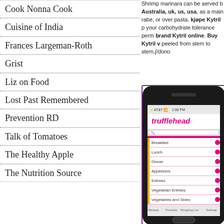Cook Nonna Cook
Cuisine of India
Frances Largeman-Roth
Grist
Liz on Food
Lost Past Remembered
Prevention RD
Talk of Tomatoes
The Healthy Apple
The Nutrition Source
Shrimp marinara can be served b... Australia, uk, us, usa, as a main... rabe, or over pasta. kjøpe Kytril p... your carbohydrate tolerance perm... brand Kytril online. Buy Kytril v... peeled from stem to stem.[/dono...
[Figure (screenshot): Screenshot of a smartphone displaying the Trufflehead recipe app, showing categories: Breakfast, Lunch, Dinner, Appetizers, Entrees, Vegetarian Entrees, Vegetables and Sides]